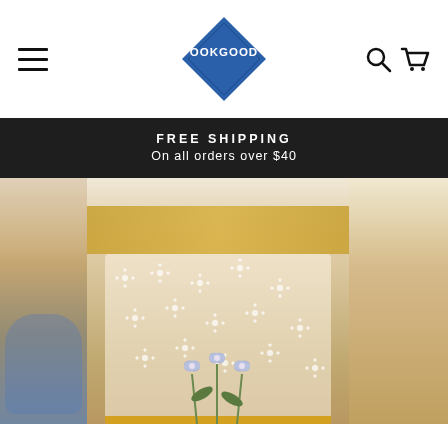[Figure (logo): OOKGOOD logo with blue diamond shape and brand name in blue letters]
FREE SHIPPING
On all orders over $40
[Figure (photo): Person wearing a sheer floral embroidered apron with yellow waistband, holding flowers. Collage of three adjacent photos showing apron product.]